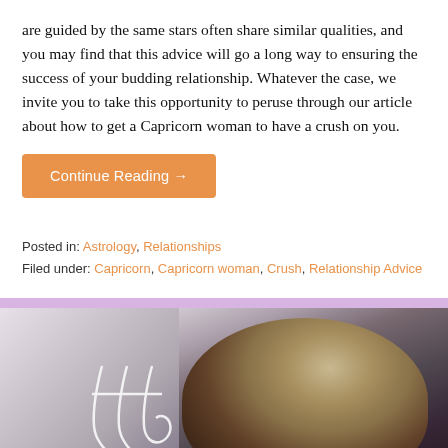are guided by the same stars often share similar qualities, and you may find that this advice will go a long way to ensuring the success of your budding relationship. Whatever the case, we invite you to take this opportunity to peruse through our article about how to get a Capricorn woman to have a crush on you.
Continue Reading →
Posted in: Astrology, Relationships
Filed under: Capricorn, Capricorn woman, Crush, Relationship Advice
[Figure (photo): Photo of a woman with brown hair against a dark background, with a Virgo/astrological symbol visible on the left side]